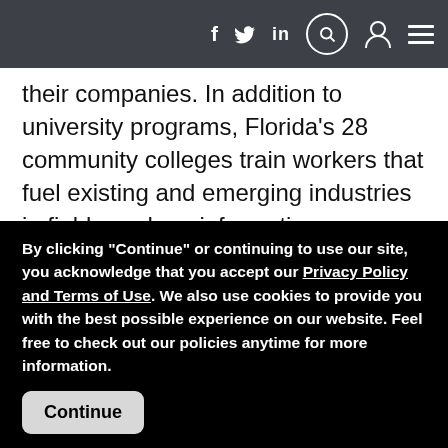Navigation bar with social icons: f, bird icon, in, search, user, menu
their companies. In addition to university programs, Florida's 28 community colleges train workers that fuel existing and emerging industries in fields such as information technology, biotech and aerospace.
"There's a tremendous amount of research taking place in both corporate and university environments," says Enterprise Florida President and CEO Darrell Kelley, "but a product's true commercial potential is often only realized through public and private collaboration."
By clicking "Continue" or continuing to use our site, you acknowledge that you accept our Privacy Policy and Terms of Use. We also use cookies to provide you with the best possible experience on our website. Feel free to check out our policies anytime for more information.